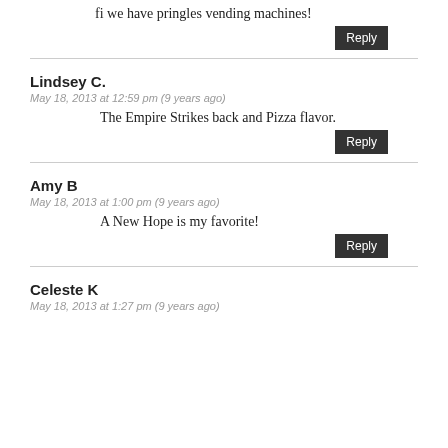fi we have pringles vending machines!
Reply
Lindsey C.
May 18, 2013 at 12:59 pm (9 years ago)
The Empire Strikes back and Pizza flavor.
Reply
Amy B
May 18, 2013 at 1:00 pm (9 years ago)
A New Hope is my favorite!
Reply
Celeste K
May 18, 2013 at 1:27 pm (9 years ago)